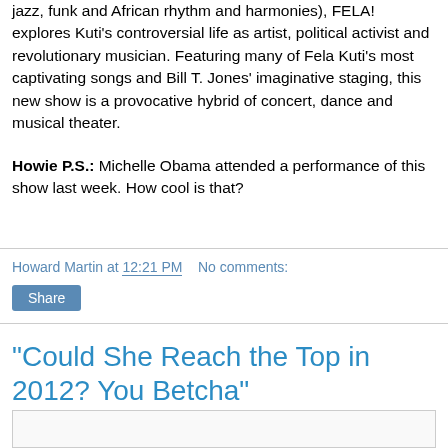jazz, funk and African rhythm and harmonies), FELA! explores Kuti's controversial life as artist, political activist and revolutionary musician. Featuring many of Fela Kuti's most captivating songs and Bill T. Jones' imaginative staging, this new show is a provocative hybrid of concert, dance and musical theater.

Howie P.S.: Michelle Obama attended a performance of this show last week. How cool is that?
Howard Martin at 12:21 PM   No comments:
Share
"Could She Reach the Top in 2012? You Betcha"